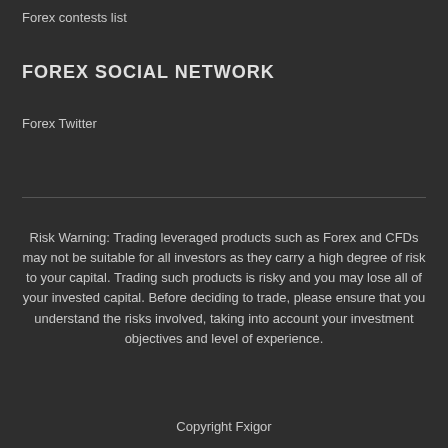Forex contests list
FOREX SOCIAL NETWORK
Forex Twitter
Risk Warning: Trading leveraged products such as Forex and CFDs may not be suitable for all investors as they carry a high degree of risk to your capital. Trading such products is risky and you may lose all of your invested capital. Before deciding to trade, please ensure that you understand the risks involved, taking into account your investment objectives and level of experience.
Copyright Fxigor